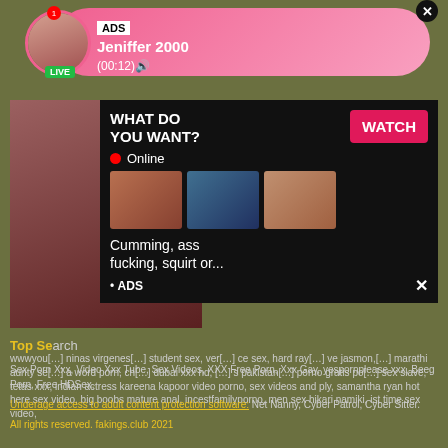[Figure (screenshot): Top ad banner with avatar, LIVE badge, ADS label, name Jeniffer 2000, time (00:12), pink gradient background, close button]
[Figure (screenshot): Main adult content ad overlay with WHAT DO YOU WANT? heading, WATCH button, Online indicator, thumbnail images, caption text, ADS label and close button]
Top Se[arch results]
wwwyou[...] ninas virgenes[...] student sex, ver[...] ce sex, hard ray[...] ve jasmon,[...] marathi aunty se[...] a word porn, ch[...] dubai xxx hd, [...] s pakistan[...] porno gratis po[...] sex slave, tetas xxx, indian actress kareena kapoor video porno, sex videos and ply, samantha ryan hot here sex video, big boobs mature anal, incestfamilyporno, men sex hikari namiki, ist time sex video,
Sex Porn Xxx, Video Xxx Tube, Sex Videos, XXX Free Porn, Xxx Gay, yespornplease xxx, Beeg Porn, Free HDSex,
Underage access to adult content protection software: Net Nanny, Cyber Patrol, Cyber Sitter.
All rights reserved. fakings.club 2021